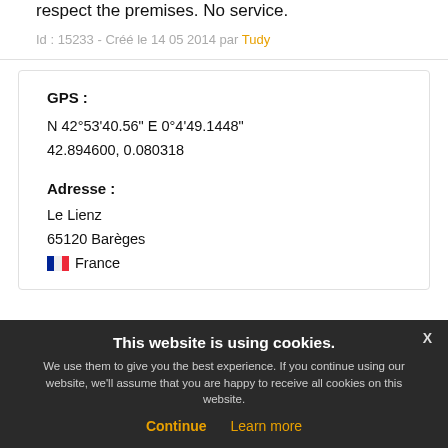respect the premises. No service.
Id : 15233 - Créé le 14 05 2014 par Tudy
GPS :
N 42°53'40.56" E 0°4'49.1448"
42.894600, 0.080318
Adresse :
Le Lienz
65120 Barèges
🇫🇷 France
This website is using cookies.
We use them to give you the best experience. If you continue using our website, we'll assume that you are happy to receive all cookies on this website.
Continue   Learn more